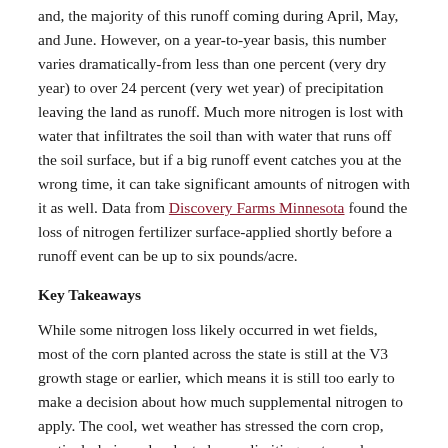and, the majority of this runoff coming during April, May, and June. However, on a year-to-year basis, this number varies dramatically-from less than one percent (very dry year) to over 24 percent (very wet year) of precipitation leaving the land as runoff. Much more nitrogen is lost with water that infiltrates the soil than with water that runs off the soil surface, but if a big runoff event catches you at the wrong time, it can take significant amounts of nitrogen with it as well. Data from Discovery Farms Minnesota found the loss of nitrogen fertilizer surface-applied shortly before a runoff event can be up to six pounds/acre.
Key Takeaways
While some nitrogen loss likely occurred in wet fields, most of the corn planted across the state is still at the V3 growth stage or earlier, which means it is still too early to make a decision about how much supplemental nitrogen to apply. The cool, wet weather has stressed the corn crop, particularly in early-planted corn, limiting water and nutrient uptake. As a result, a lot of corn looks nitrogen deficient at the moment. This does not necessarily mean the soil doesn’t have enough nitrogen. With a good stretch of warmer and sunnier weather coming